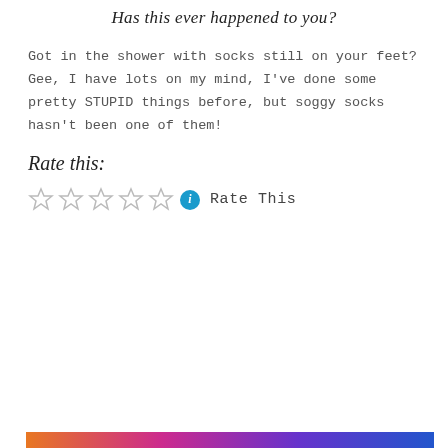Has this ever happened to you?
Got in the shower with socks still on your feet? Gee, I have lots on my mind, I've done some pretty STUPID things before, but soggy socks hasn't been one of them!
Rate this:
[Figure (other): Five empty star rating icons followed by a teal info icon and 'Rate This' text]
Privacy & Cookies: This site uses cookies. By continuing to use this website, you agree to their use. To find out more, including how to control cookies, see here: Cookie Policy
Close and accept